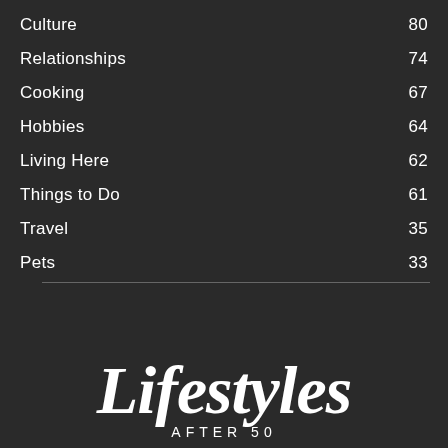Culture  80
Relationships  74
Cooking  67
Hobbies  64
Living Here  62
Things to Do  61
Travel  35
Pets  33
[Figure (logo): Lifestyles After 50 magazine logo in white serif font on dark background]